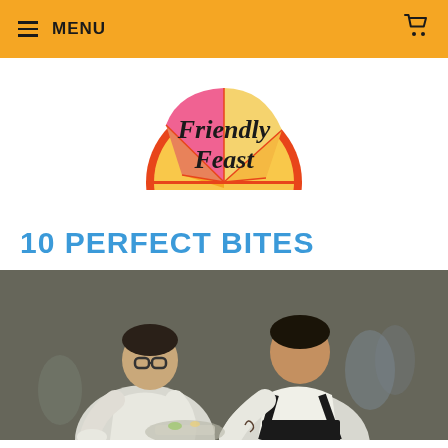MENU
[Figure (logo): Friendly Feast logo: a half orange/citrus fruit slice illustration with pink, orange, coral and yellow segments, with the text 'Friendly Feast' in dark handwritten-style font, surrounded by an orange circular border]
10 PERFECT BITES
[Figure (photo): Two chefs in white uniforms leaning over and carefully plating/preparing food on a table, photographed from the side in a kitchen or event setting]